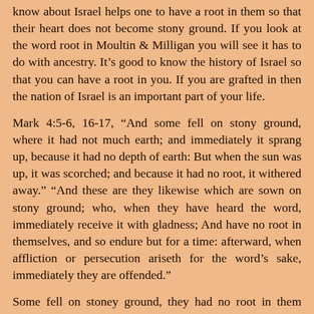know about Israel helps one to have a root in them so that their heart does not become stony ground. If you look at the word root in Moultin & Milligan you will see it has to do with ancestry. It's good to know the history of Israel so that you can have a root in you. If you are grafted in then the nation of Israel is an important part of your life.
Mark 4:5-6, 16-17, “And some fell on stony ground, where it had not much earth; and immediately it sprang up, because it had no depth of earth: But when the sun was up, it was scorched; and because it had no root, it withered away.” “And these are they likewise which are sown on stony ground; who, when they have heard the word, immediately receive it with gladness; And have no root in themselves, and so endure but for a time: afterward, when affliction or persecution ariseth for the word’s sake, immediately they are offended.”
Some fell on stoney ground, they had no root in them when affliction or persecution ariseth for the word’s sake,